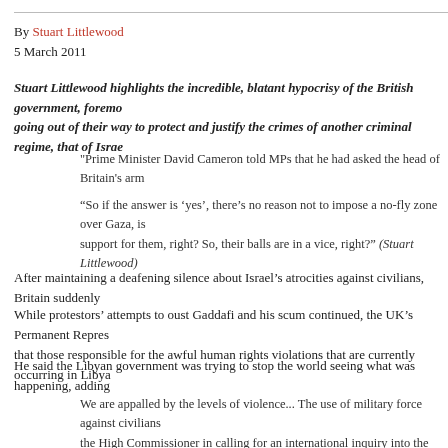By Stuart Littlewood
5 March 2011
Stuart Littlewood highlights the incredible, blatant hypocrisy of the British government, foremo going out of their way to protect and justify the crimes of another criminal regime, that of Israe
"Prime Minister David Cameron told MPs that he had asked the head of Britain's arm
“So if the answer is ‘yes’, there’s no reason not to impose a no-fly zone over Gaza, is support for them, right? So, their balls are in a vice, right?” (Stuart Littlewood)
After maintaining a deafening silence about Israel’s atrocities against civilians, Britain suddenly
While protestors’ attempts to oust Gaddafi and his scum continued, the UK’s Permanent Repres that those responsible for the awful human rights violations that are currently occurring in Libya
He said the Libyan government was trying to stop the world seeing what was happening, adding
We are appalled by the levels of violence... The use of military force against civilians the High Commissioner in calling for an international inquiry into the violence... The for their actions…
Foreign secretary William Hague announced he had signed a directive revoking Gaddafi’s diplo He spoke of Britain’s readiness to provide humanitarian help. “Our Department for Internationa deliver such assistance if necessary.”
He bragged about how the UK “drove” through a Security Council resolution referring what